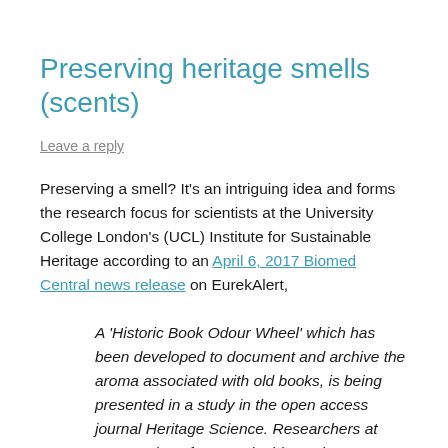Preserving heritage smells (scents)
Leave a reply
Preserving a smell? It’s an intriguing idea and forms the research focus for scientists at the University College London’s (UCL) Institute for Sustainable Heritage according to an April 6, 2017 Biomed Central news release on EurekAlert,
A ‘Historic Book Odour Wheel’ which has been developed to document and archive the aroma associated with old books, is being presented in a study in the open access journal Heritage Science. Researchers at UCL Institute for Sustainable Heritage created the wheel as part of an experiment in which